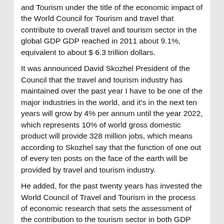and Tourism under the title of the economic impact of the World Council for Tourism and travel that contribute to overall travel and tourism sector in the global GDP GDP reached in 2011 about 9.1%, equivalent to about $ 6.3 trillion dollars.
It was announced David Skozhel President of the Council that the travel and tourism industry has maintained over the past year I have to be one of the major industries in the world, and it's in the next ten years will grow by 4% per annum until the year 2022, which represents 10% of world gross domestic product will provide 328 million jobs, which means according to Skozhel say that the function of one out of every ten posts on the face of the earth will be provided by travel and tourism industry.
He added, for the past twenty years has invested the World Council of Travel and Tourism in the process of economic research that sets the assessment of the contribution to the tourism sector in both GDP and employment, this research include the expectations and prophecies for the next ten years is considered unique in terms of information they provide, They also help both